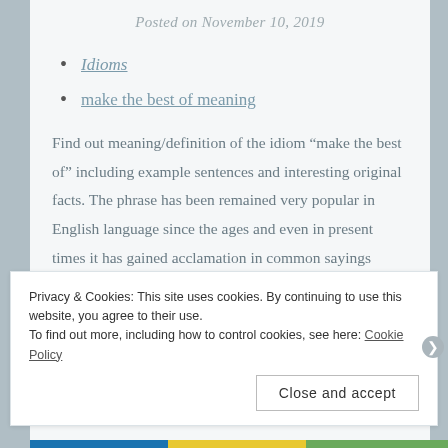Posted on November 10, 2019
Idioms
make the best of meaning
Find out meaning/definition of the idiom “make the best of” including example sentences and interesting original facts. The phrase has been remained very popular in English language since the ages and even in present times it has gained acclamation in common sayings among the English speakers. This term start with the letter #M it was published on TheIdioms.com website in
Privacy & Cookies: This site uses cookies. By continuing to use this website, you agree to their use.
To find out more, including how to control cookies, see here: Cookie Policy
Close and accept